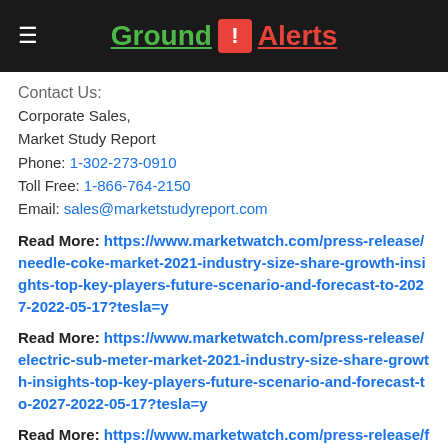Ground ! Alerts
Contact Us:
Corporate Sales,
Market Study Report
Phone: 1-302-273-0910
Toll Free: 1-866-764-2150
Email: sales@marketstudyreport.com
Read More: https://www.marketwatch.com/press-release/needle-coke-market-2021-industry-size-share-growth-insights-top-key-players-future-scenario-and-forecast-to-2027-2022-05-17?tesla=y
Read More: https://www.marketwatch.com/press-release/electric-sub-meter-market-2021-industry-size-share-growth-insights-top-key-players-future-scenario-and-forecast-to-2027-2022-05-17?tesla=y
Read More: https://www.marketwatch.com/press-release/fire-stopping-materials-market-size-growing-at-116-cagr-to-hit-usd-270-billion-by-2028-2022-05-16?